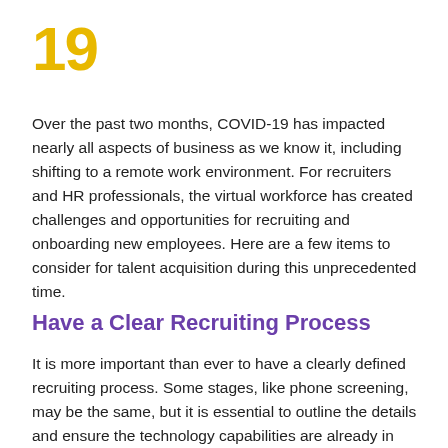19
Over the past two months, COVID-19 has impacted nearly all aspects of business as we know it, including shifting to a remote work environment. For recruiters and HR professionals, the virtual workforce has created challenges and opportunities for recruiting and onboarding new employees. Here are a few items to consider for talent acquisition during this unprecedented time.
Have a Clear Recruiting Process
It is more important than ever to have a clearly defined recruiting process. Some stages, like phone screening, may be the same, but it is essential to outline the details and ensure the technology capabilities are already in place before beginning